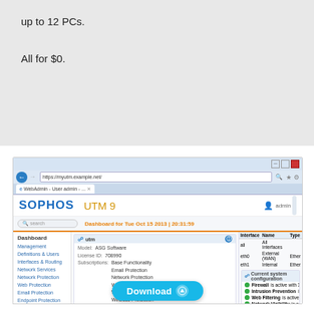up to 12 PCs.
All for $0.
[Figure (screenshot): Screenshot of Sophos UTM 9 WebAdmin dashboard in a browser window, showing navigation menu, system info widget with Model ASG Software, License ID 708990, Subscriptions including Base Functionality, Email Protection, Network Protection, Web Protection, Webserver Protection, Wireless Protection, Endpoint AntiVirus, Uptime 0d 0h 4m. Interface table showing all/eth0/eth1. Current system configuration panel showing Firewall, Intrusion Prevention, Web Filtering, Network Visibility statuses. Download button overlay at bottom.]